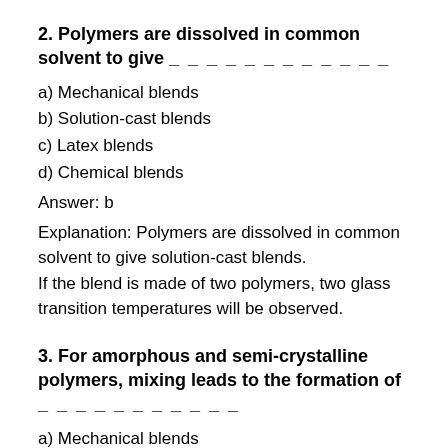2. Polymers are dissolved in common solvent to give _ _ _ _ _ _ _ _ _ _ _ _
a) Mechanical blends
b) Solution-cast blends
c) Latex blends
d) Chemical blends
Answer: b
Explanation: Polymers are dissolved in common solvent to give solution-cast blends. If the blend is made of two polymers, two glass transition temperatures will be observed.
3. For amorphous and semi-crystalline polymers, mixing leads to the formation of _ _ _ _ _ _ _ _ _ _ _
a) Mechanical blends